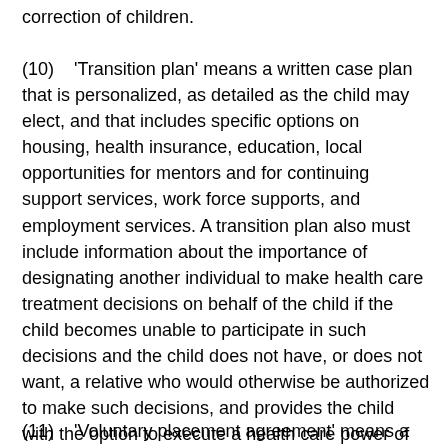correction of children.
(10)    'Transition plan' means a written case plan that is personalized, as detailed as the child may elect, and that includes specific options on housing, health insurance, education, local opportunities for mentors and for continuing support services, work force supports, and employment services. A transition plan also must include information about the importance of designating another individual to make health care treatment decisions on behalf of the child if the child becomes unable to participate in such decisions and the child does not have, or does not want, a relative who would otherwise be authorized to make such decisions, and provides the child with the option to execute a health care power of attorney or health care proxy.
(11)    'Voluntary placement agreement' means a written